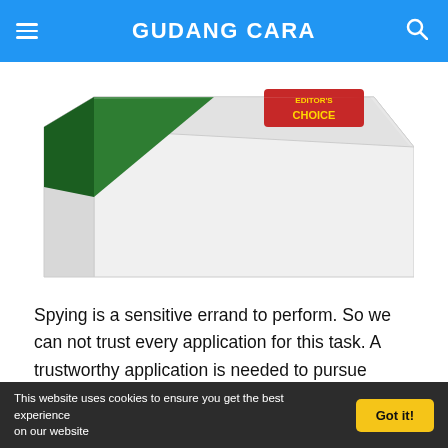GUDANG CARA
[Figure (illustration): Partial view of a white product box with green corner accent and red 'CHOICE' badge label on top]
Spying is a sensitive errand to perform. So we can not trust every application for this task. A trustworthy application is needed to pursue spying errands. Currently, it has millions to billions of users from around the world.
Spyine has the most comfortable set of instructions to follow with top facilities, making it more lovable in the community. It provides the users with all types of tools
This website uses cookies to ensure you get the best experience on our website